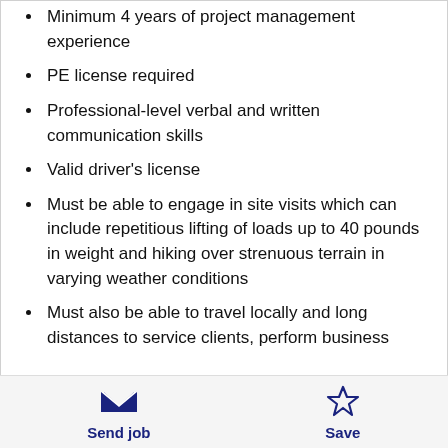Minimum 4 years of project management experience
PE license required
Professional-level verbal and written communication skills
Valid driver's license
Must be able to engage in site visits which can include repetitious lifting of loads up to 40 pounds in weight and hiking over strenuous terrain in varying weather conditions
Must also be able to travel locally and long distances to service clients, perform business
Send job  Save